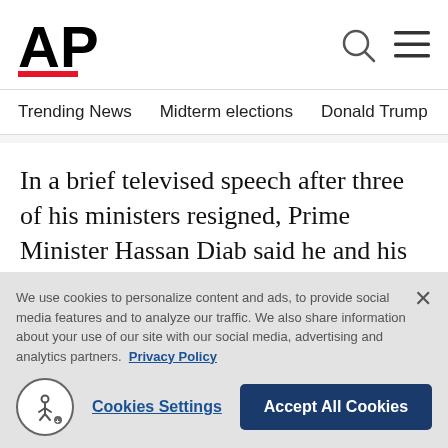[Figure (logo): AP (Associated Press) logo with bold black letters and red underline bar]
Trending News   Midterm elections   Donald Trump   Russia-Ukr
In a brief televised speech after three of his ministers resigned, Prime Minister Hassan Diab said he and his government were stepping down.
“May God protect Lebanon,” he said, repeating the last phrase three times. As he spoke, protesters
We use cookies to personalize content and ads, to provide social media features and to analyze our traffic. We also share information about your use of our site with our social media, advertising and analytics partners. Privacy Policy
Cookies Settings   Accept All Cookies